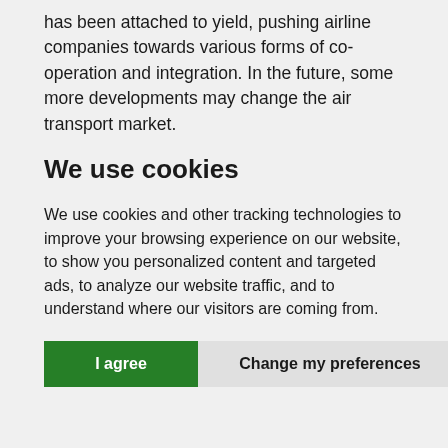has been attached to yield, pushing airline companies towards various forms of co-operation and integration. In the future, some more developments may change the air transport market.
We use cookies
We use cookies and other tracking technologies to improve your browsing experience on our website, to show you personalized content and targeted ads, to analyze our website traffic, and to understand where our visitors are coming from.